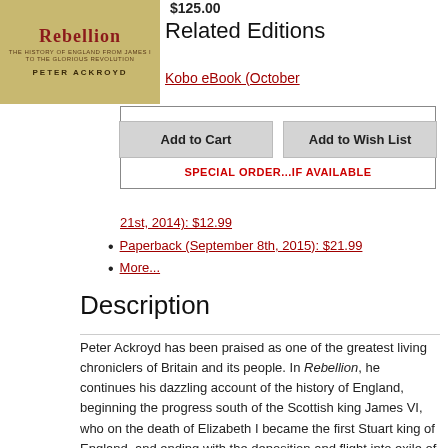[Figure (illustration): Book cover of 'Rebellion: The History of England from James I to the Glorious Revolution' by Peter Ackroyd, tan/gold background with red title text]
$125.00
Related Editions
Kobo eBook (October
Add to Cart   Add to Wish List
SPECIAL ORDER...IF AVAILABLE
21st, 2014): $12.99
Paperback (September 8th, 2015): $21.99
More...
Description
Peter Ackroyd has been praised as one of the greatest living chroniclers of Britain and its people. In Rebellion, he continues his dazzling account of the history of England, beginning the progress south of the Scottish king James VI, who on the death of Elizabeth I became the first Stuart king of England, and ending with the deposition and flight into exile of his grandson